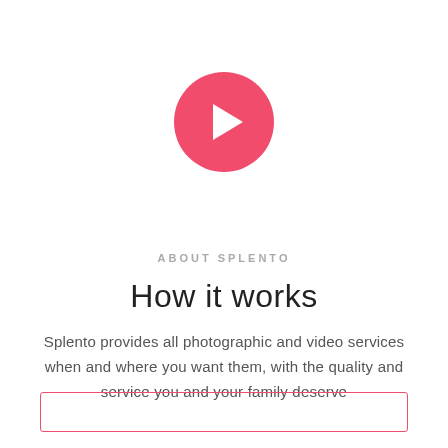[Figure (illustration): A pink/red circular play button with a white right-pointing triangle in the center]
ABOUT SPLENTO
How it works
Splento provides all photographic and video services when and where you want them, with the quality and service you and your family deserve